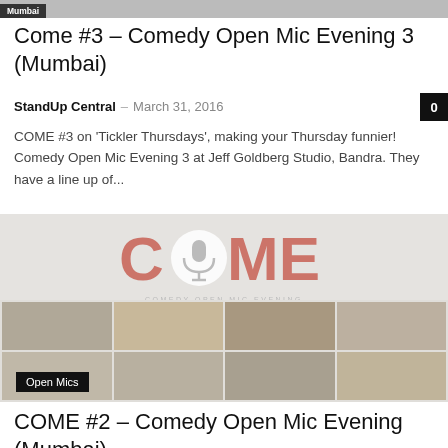[Figure (photo): Top cropped image strip with Mumbai tag label]
Come #3 – Comedy Open Mic Evening 3 (Mumbai)
StandUp Central – March 31, 2016
COME #3 on 'Tickler Thursdays', making your Thursday funnier! Comedy Open Mic Evening 3 at Jeff Goldberg Studio, Bandra. They have a line up of...
[Figure (photo): COME – Comedy Open Mic Evening logo with microphone icon, and photo grid of performers below. Open Mics tag overlay.]
COME #2 – Comedy Open Mic Evening (Mumbai)